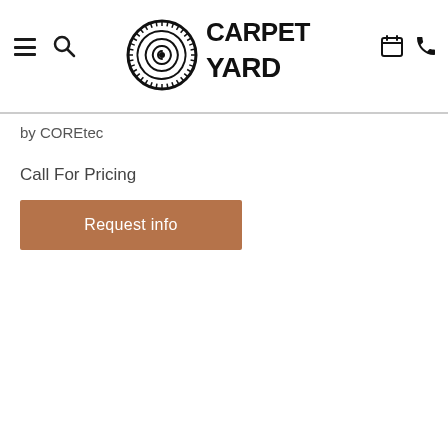Carpet Yard — Navigation header with hamburger menu, search, logo, calendar and phone icons
by COREtec
Call For Pricing
Request info